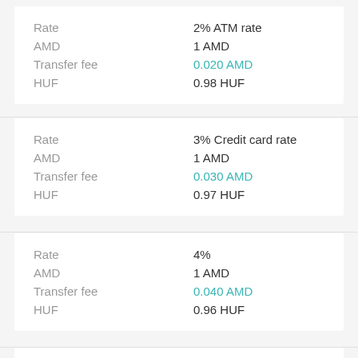| Field | Value |
| --- | --- |
| Rate | 2% ATM rate |
| AMD | 1 AMD |
| Transfer fee | 0.020 AMD |
| HUF | 0.98 HUF |
| Field | Value |
| --- | --- |
| Rate | 3% Credit card rate |
| AMD | 1 AMD |
| Transfer fee | 0.030 AMD |
| HUF | 0.97 HUF |
| Field | Value |
| --- | --- |
| Rate | 4% |
| AMD | 1 AMD |
| Transfer fee | 0.040 AMD |
| HUF | 0.96 HUF |
| Field | Value |
| --- | --- |
| Rate | 5% Kiosk rate |